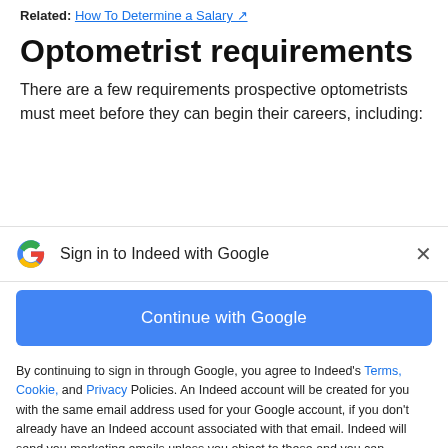Related: How To Determine a Salary
Optometrist requirements
There are a few requirements prospective optometrists must meet before they can begin their careers, including:
Sign in to Indeed with Google
Continue with Google
By continuing to sign in through Google, you agree to Indeed's Terms, Cookie, and Privacy Policies. An Indeed account will be created for you with the same email address used for your Google account, if you don't already have an Indeed account associated with that email. Indeed will send you marketing emails unless you object to these and you can unsubscribe at any time.